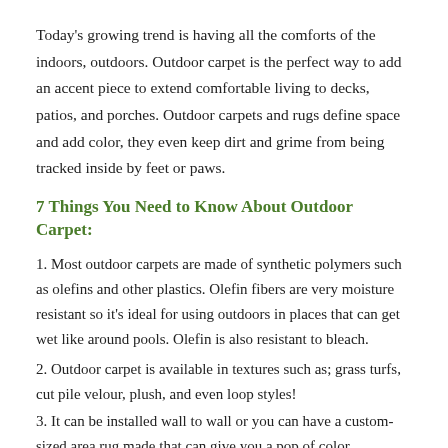Today's growing trend is having all the comforts of the indoors, outdoors. Outdoor carpet is the perfect way to add an accent piece to extend comfortable living to decks, patios, and porches. Outdoor carpets and rugs define space and add color, they even keep dirt and grime from being tracked inside by feet or paws.
7 Things You Need to Know About Outdoor Carpet:
1. Most outdoor carpets are made of synthetic polymers such as olefins and other plastics. Olefin fibers are very moisture resistant so it's ideal for using outdoors in places that can get wet like around pools. Olefin is also resistant to bleach.
2. Outdoor carpet is available in textures such as; grass turfs, cut pile velour, plush, and even loop styles!
3. It can be installed wall to wall or you can have a custom-sized area rug made that can give you a pop of color.